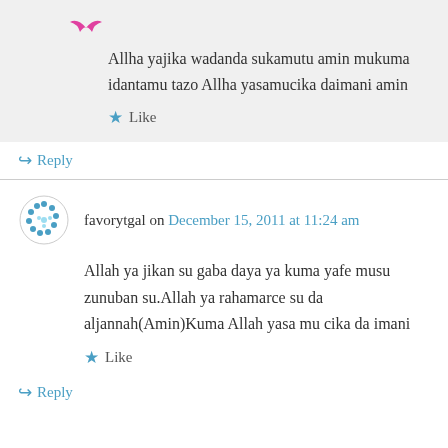Allha yajika wadanda sukamutu amin mukuma idantamu tazo Allha yasamucika daimani amin
★ Like
↪ Reply
favorytgal on December 15, 2011 at 11:24 am
Allah ya jikan su gaba daya ya kuma yafe musu zunuban su.Allah ya rahamarce su da aljannah(Amin)Kuma Allah yasa mu cika da imani
★ Like
↪ Reply